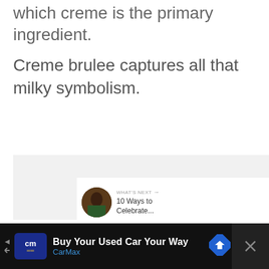which creme is the primary ingredient.
Creme brulee captures all that milky symbolism.
[Figure (photo): Light gray image placeholder area]
[Figure (screenshot): What's Next panel showing thumbnail and text '10 Ways to Celebrate...' with social interaction buttons showing heart icon, count 2, and share icon]
[Figure (infographic): Advertisement bar: CarMax 'Buy Your Used Car Your Way' with CarMax logo and directional sign icon]